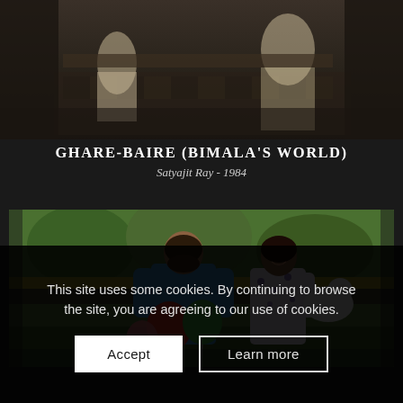[Figure (photo): Dark indoor scene showing people in traditional clothing seated, appears to be a film still in muted dark tones]
GHARE-BAIRE (BIMALA'S WORLD)
Satyajit Ray - 1984
[Figure (photo): Outdoor scene showing a man in blue sweater and a girl holding a white animal (goat), with colorful balloons (red, green) in the foreground, green landscape in background]
This site uses some cookies. By continuing to browse the site, you are agreeing to our use of cookies.
Accept
Learn more